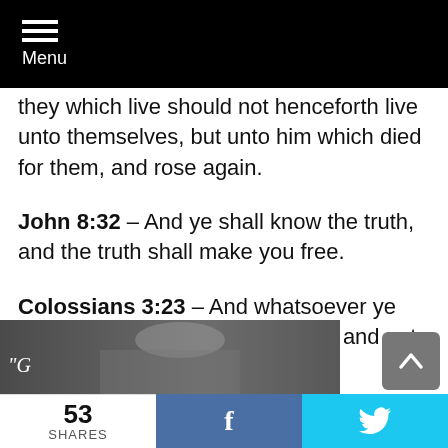Menu
they which live should not henceforth live unto themselves, but unto him which died for them, and rose again.
John 8:32 – And ye shall know the truth, and the truth shall make you free.
Colossians 3:23 – And whatsoever ye do, do [it] heartily, as to the Lord, and not unto men;
[Figure (photo): Partial photo of a person at the bottom of the page, partially obscured]
53 SHARES  f  (twitter bird icon)